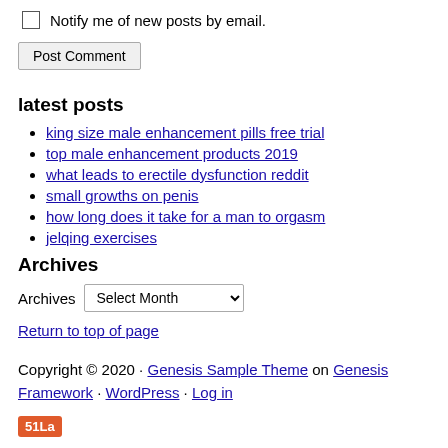Notify me of new posts by email.
Post Comment
latest posts
king size male enhancement pills free trial
top male enhancement products 2019
what leads to erectile dysfunction reddit
small growths on penis
how long does it take for a man to orgasm
jelqing exercises
Archives
Archives  Select Month
Return to top of page
Copyright © 2020 · Genesis Sample Theme on Genesis Framework · WordPress · Log in
[Figure (logo): 51La badge/logo in orange-red background with white text]